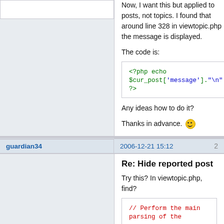Now, I want this but applied to posts, not topics. I found that around line 328 in viewtopic.php the message is displayed.
The code is:
[Figure (screenshot): Code box showing PHP snippet: <?php echo $cur_post['message']."\n" ?>]
Any ideas how to do it?
Thanks in advance. :)
guardian34
2006-12-21 15:12
2
Re: Hide reported post
Try this? In viewtopic.php, find?
[Figure (screenshot): Code box showing comment: // Perform the main parsing of the]